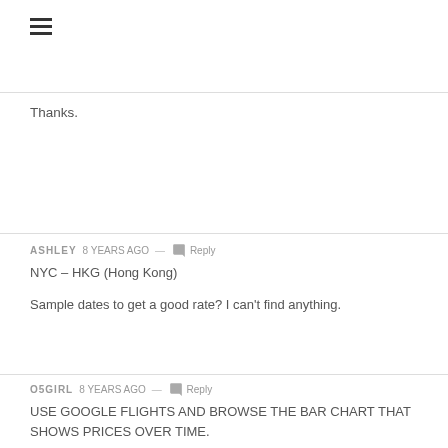Thanks.
ASHLEY 8 years ago — Reply
NYC – HKG (Hong Kong)
Sample dates to get a good rate? I can't find anything.
O5GIRL 8 years ago — Reply
USE GOOGLE FLIGHTS AND BROWSE THE BAR CHART THAT SHOWS PRICES OVER TIME.
JESS 8 years ago — Reply